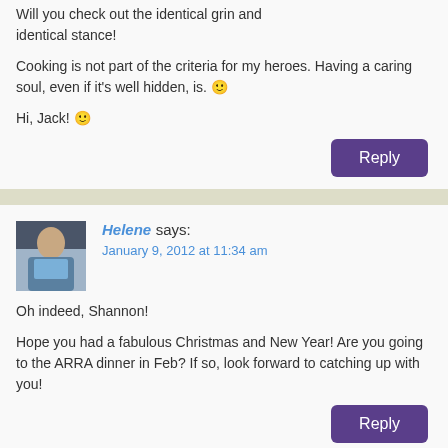Will you check out the identical grin and identical stance!
Cooking is not part of the criteria for my heroes. Having a caring soul, even if it's well hidden, is. 🙂
Hi, Jack! 🙂
Reply
[Figure (photo): Avatar photo of Helene]
Helene says:
January 9, 2012 at 11:34 am
Oh indeed, Shannon!
Hope you had a fabulous Christmas and New Year! Are you going to the ARRA dinner in Feb? If so, look forward to catching up with you!
Reply